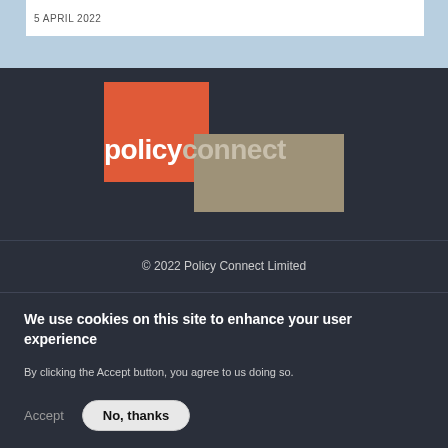5 APRIL 2022
[Figure (logo): Policy Connect logo with orange square background for 'policy' text and tan/khaki rectangle background for 'connect' text, on dark navy background]
© 2022 Policy Connect Limited
We use cookies on this site to enhance your user experience
By clicking the Accept button, you agree to us doing so.
Accept   No, thanks